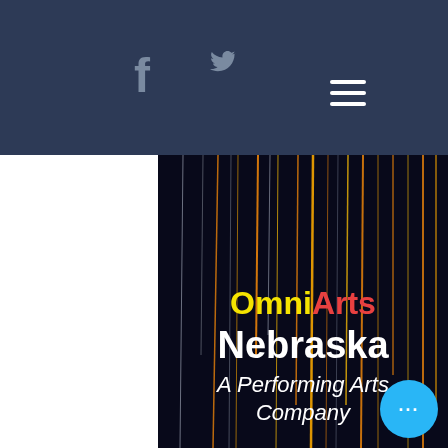[Figure (screenshot): Website screenshot showing a dark navy header bar with Facebook and Twitter social icons, a hamburger menu icon, and a hero image section with colorful light streaks on a dark background. The hero section contains the OmniArts Nebraska branding text and a blue circular button with ellipsis.]
OmniArts Nebraska A Performing Arts Company